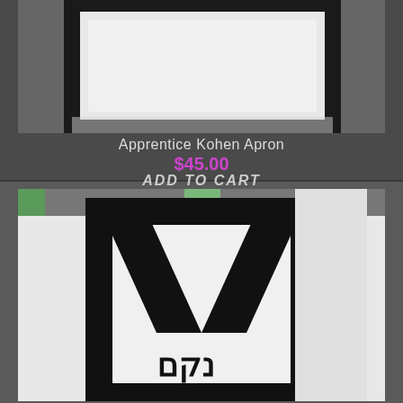[Figure (photo): White apron with black border trim shown flat - Apprentice Kohen Apron product photo]
Apprentice Kohen Apron
$45.00
ADD TO CART
[Figure (photo): White and black apron being worn, showing a V-shaped black chevron design on white fabric with Hebrew letters at the bottom, black border trim, and a green strap visible at top]